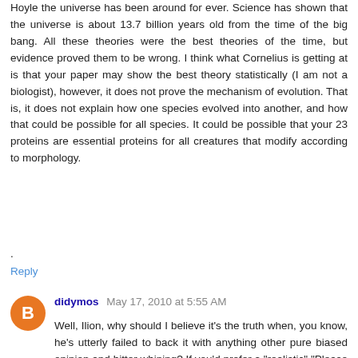Hoyle the universe has been around for ever. Science has shown that the universe is about 13.7 billion years old from the time of the big bang. All these theories were the best theories of the time, but evidence proved them to be wrong. I think what Cornelius is getting at is that your paper may show the best theory statistically (I am not a biologist), however, it does not prove the mechanism of evolution. That is, it does not explain how one species evolved into another, and how that could be possible for all species. It could be possible that your 23 proteins are essential proteins for all creatures that modify according to morphology.
.
Reply
didymos May 17, 2010 at 5:55 AM
Well, Ilion, why should I believe it's the truth when, you know, he's utterly failed to back it with anything other pure biased opinion and bitter whining? If you'd prefer a "realistic" "Please reconsider your current abysmal...